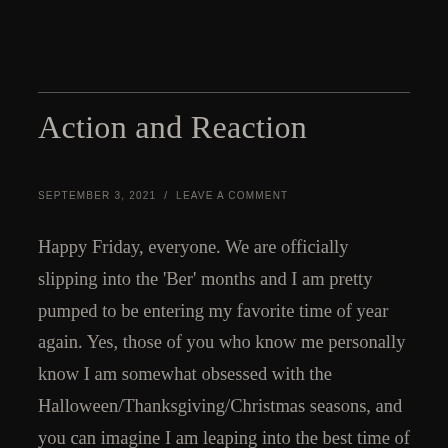Action and Reaction
SEPTEMBER 3, 2021  /  LEAVE A COMMENT
Happy Friday, everyone. We are officially slipping into the 'Ber' months and I am pretty pumped to be entering my favorite time of year again. Yes, those of you who know me personally know I am somewhat obsessed with the Halloween/Thanksgiving/Christmas seasons, and you can imagine I am leaping into the best time of year head first. I've been working hard at getting my recent releases out to as many new audiences as I can and trying to pick up some new events along the way, but unfortunately that has been